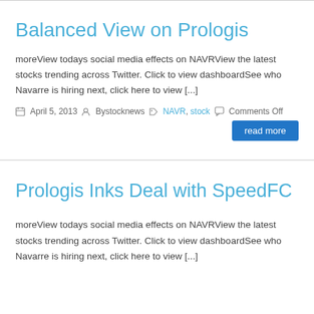Balanced View on Prologis
moreView todays social media effects on NAVRView the latest stocks trending across Twitter. Click to view dashboardSee who Navarre is hiring next, click here to view [...]
April 5, 2013  Bystocknews  NAVR, stock  Comments Off
Prologis Inks Deal with SpeedFC
moreView todays social media effects on NAVRView the latest stocks trending across Twitter. Click to view dashboardSee who Navarre is hiring next, click here to view [...]